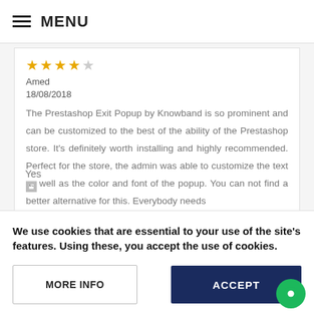MENU
★★★★☆
Amed
18/08/2018
The Prestashop Exit Popup by Knowband is so prominent and can be customized to the best of the ability of the Prestashop store. It's definitely worth installing and highly recommended. Perfect for the store, the admin was able to customize the text as well as the color and font of the popup. You can not find a better alternative for this. Everybody needs
We use cookies that are essential to your use of the site's features. Using these, you accept the use of cookies.
MORE INFO
ACCEPT
Yes